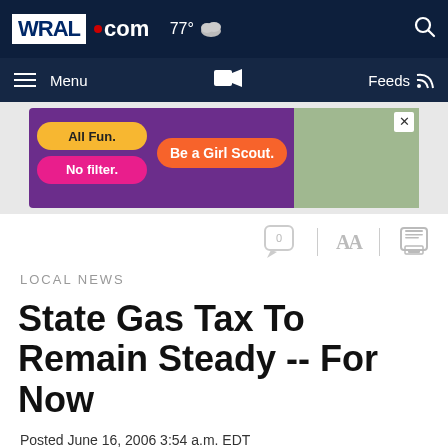WRAL.com  77°  Menu  Feeds
[Figure (screenshot): Advertisement banner: Girl Scouts ad with text 'All Fun. No filter. Be a Girl Scout.' showing group of girls outdoors]
[Figure (infographic): Toolbar icons: comment bubble with 0, AA text size, printer icon]
LOCAL NEWS
State Gas Tax To Remain Steady -- For Now
Posted June 16, 2006 3:54 a.m. EDT
[Figure (infographic): Social share buttons: Facebook, Twitter, LinkedIn, Gmail, Yahoo, More]